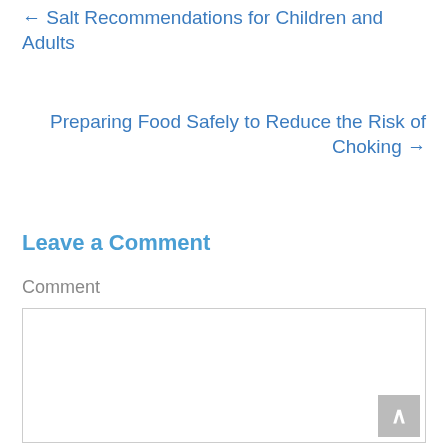← Salt Recommendations for Children and Adults
Preparing Food Safely to Reduce the Risk of Choking →
Leave a Comment
Comment